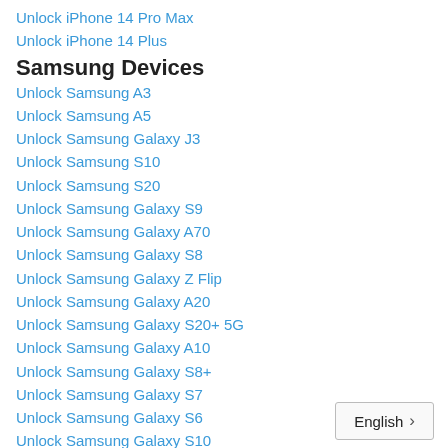Unlock iPhone 14 Pro Max
Unlock iPhone 14 Plus
Samsung Devices
Unlock Samsung A3
Unlock Samsung A5
Unlock Samsung Galaxy J3
Unlock Samsung S10
Unlock Samsung S20
Unlock Samsung Galaxy S9
Unlock Samsung Galaxy A70
Unlock Samsung Galaxy S8
Unlock Samsung Galaxy Z Flip
Unlock Samsung Galaxy A20
Unlock Samsung Galaxy S20+ 5G
Unlock Samsung Galaxy A10
Unlock Samsung Galaxy S8+
Unlock Samsung Galaxy S7
Unlock Samsung Galaxy S6
Unlock Samsung Galaxy S10
Samsung Devices
Unlock Samsung Galaxy S9...
English >